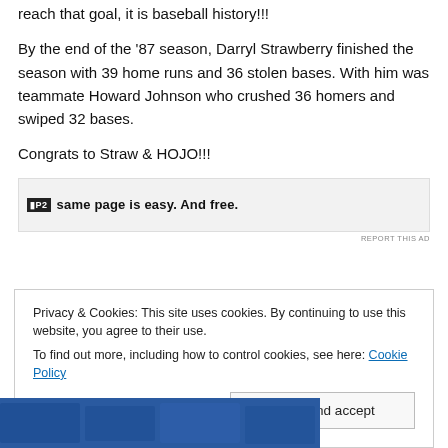reach that goal, it is baseball history!!!
By the end of the '87 season, Darryl Strawberry finished the season with 39 home runs and 36 stolen bases.  With him was teammate Howard Johnson who crushed 36 homers and swiped 32 bases.
Congrats to Straw & HOJO!!!
[Figure (screenshot): Advertisement banner with icon and bold text: 'same page is easy. And free.']
REPORT THIS AD
Privacy & Cookies: This site uses cookies. By continuing to use this website, you agree to their use.
To find out more, including how to control cookies, see here: Cookie Policy
[Figure (photo): Partial photo strip showing people in blue jerseys at bottom of page]